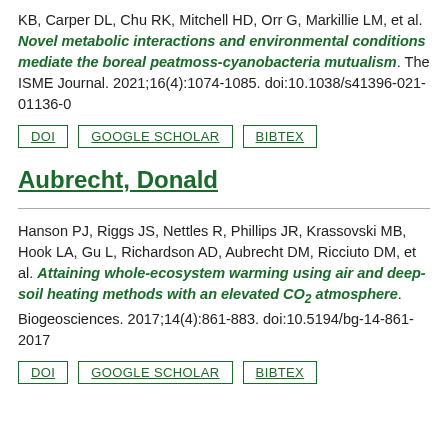KB, Carper DL, Chu RK, Mitchell HD, Orr G, Markillie LM, et al. Novel metabolic interactions and environmental conditions mediate the boreal peatmoss-cyanobacteria mutualism. The ISME Journal. 2021;16(4):1074-1085. doi:10.1038/s41396-021-01136-0
DOI | GOOGLE SCHOLAR | BIBTEX
Aubrecht, Donald
Hanson PJ, Riggs JS, Nettles R, Phillips JR, Krassovski MB, Hook LA, Gu L, Richardson AD, Aubrecht DM, Ricciuto DM, et al. Attaining whole-ecosystem warming using air and deep-soil heating methods with an elevated CO2 atmosphere. Biogeosciences. 2017;14(4):861-883. doi:10.5194/bg-14-861-2017
DOI | GOOGLE SCHOLAR | BIBTEX